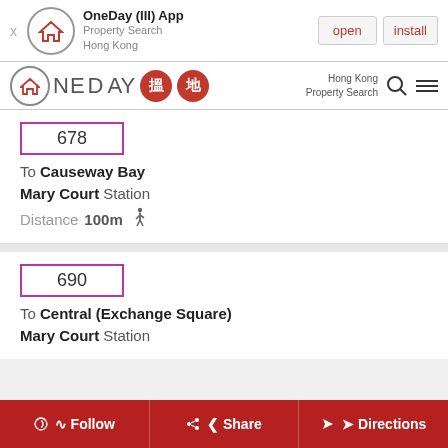[Figure (screenshot): App install banner for OneDay (III) App - Property Search Hong Kong with open and install buttons]
[Figure (logo): OneDay property search Hong Kong logo with Chinese characters]
678
To Causeway Bay
Mary Court Station
Distance 100m
690
To Central (Exchange Square)
Mary Court Station
Follow   Share   Directions